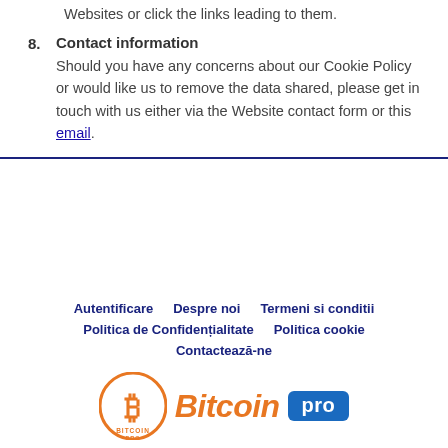Websites or click the links leading to them.
8. Contact information
Should you have any concerns about our Cookie Policy or would like us to remove the data shared, please get in touch with us either via the Website contact form or this email.
Autentificare | Despre noi | Termeni si conditii | Politica de Confidențialitate | Politica cookie | Contactează-ne
[Figure (logo): Bitcoin Pro logo with orange circular Bitcoin coin icon and orange italic 'Bitcoin' wordmark with blue 'pro' badge]